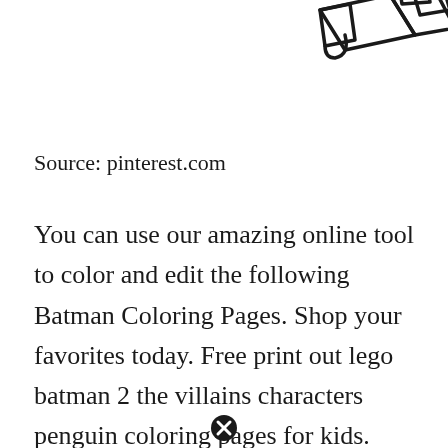[Figure (illustration): Partial line-art illustration of what appears to be a LEGO gun or toy weapon, shown in black outline on white background, cropped at top of page.]
Source: pinterest.com
You can use our amazing online tool to color and edit the following Batman Coloring Pages. Shop your favorites today. Free print out lego batman 2 the villains characters penguin coloring pages for kids. Search through more than 50000 coloring
[Figure (other): Close/dismiss button (circled X icon) at bottom center of page.]